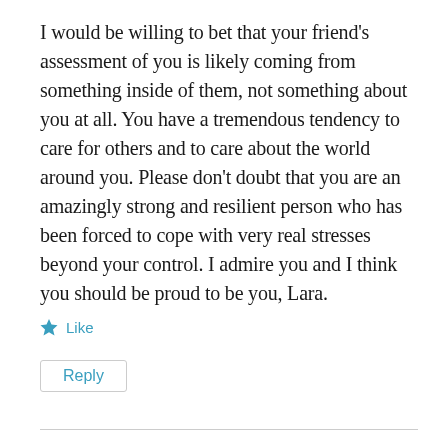I would be willing to bet that your friend's assessment of you is likely coming from something inside of them, not something about you at all. You have a tremendous tendency to care for others and to care about the world around you. Please don't doubt that you are an amazingly strong and resilient person who has been forced to cope with very real stresses beyond your control. I admire you and I think you should be proud to be you, Lara.
★ Like
Reply